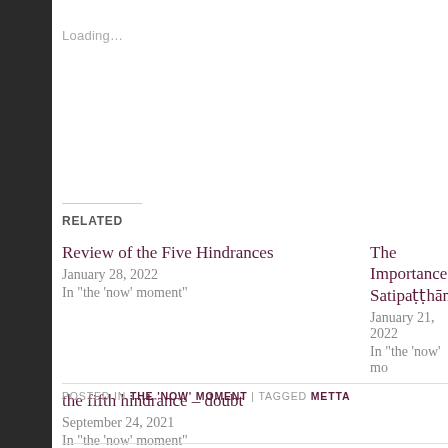Loading…
Related
Review of the Five Hindrances
January 28, 2022
In "the 'now' moment"
The Importance of Satipaṭṭhāna
January 21, 2022
In "the 'now' mo…
the fifth hindrance – doubt
September 24, 2021
In "the 'now' moment"
POSTED IN THE 'NOW' MOMENT | TAGGED METTA